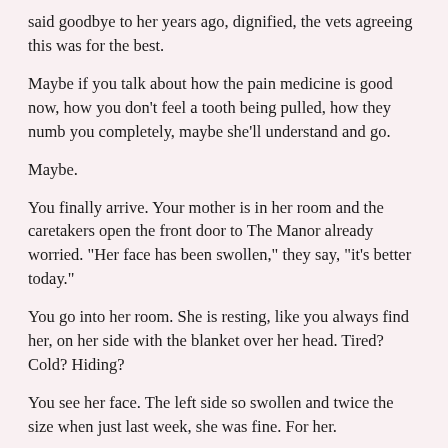said goodbye to her years ago, dignified, the vets agreeing this was for the best.
Maybe if you talk about how the pain medicine is good now, how you don't feel a tooth being pulled, how they numb you completely, maybe she'll understand and go.
Maybe.
You finally arrive. Your mother is in her room and the caretakers open the front door to The Manor already worried. "Her face has been swollen," they say, "it's better today."
You go into her room. She is resting, like you always find her, on her side with the blanket over her head. Tired? Cold? Hiding?
You see her face. The left side so swollen and twice the size when just last week, she was fine. For her.
You are surprised. Taken completely aback, but you try not to look startled.